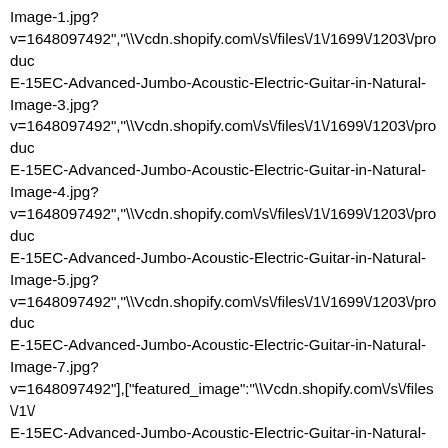Image-1.jpg?
v=1648097492","\Vcdn.shopify.com\/s\/files\/1\/1699\/1203\/produc
E-15EC-Advanced-Jumbo-Acoustic-Electric-Guitar-in-Natural-
Image-3.jpg?
v=1648097492","\Vcdn.shopify.com\/s\/files\/1\/1699\/1203\/produc
E-15EC-Advanced-Jumbo-Acoustic-Electric-Guitar-in-Natural-
Image-4.jpg?
v=1648097492","\Vcdn.shopify.com\/s\/files\/1\/1699\/1203\/produc
E-15EC-Advanced-Jumbo-Acoustic-Electric-Guitar-in-Natural-
Image-5.jpg?
v=1648097492","\Vcdn.shopify.com\/s\/files\/1\/1699\/1203\/produc
E-15EC-Advanced-Jumbo-Acoustic-Electric-Guitar-in-Natural-
Image-7.jpg?
v=1648097492"],["featured_image":"\Vcdn.shopify.com\/s\/files\/1\/
E-15EC-Advanced-Jumbo-Acoustic-Electric-Guitar-in-Natural-
Image-2.jpg?v=1648097492","options":["Title"],"media":
[{"alt":null,"id":29641268723945,"position":1,"preview_image":
{"aspect_ratio":1.226,"height":1142,"width":1400,"src":"https:\/\/cdn
E-15EC-Advanced-Jumbo-Acoustic-Electric-Guitar-in-Natural-
Image-2.jpg?
v=1648097492"},"aspect_ratio":1.226,"height":1142,"media_type":"
E-15EC-Advanced-Jumbo-Acoustic-Electric-Guitar-in-Natural-
Image-2.jpg?v=1648097492","width":1400},
{"alt":null,"id":29641294545129,"position":2,"preview_image":
{"aspect_ratio":1.226,"height":1142,"width":1400,"src":"https:\/\/cdn
E-15EC-Advanced-Jumbo-Acoustic-Electric-Guitar-in-Natural-